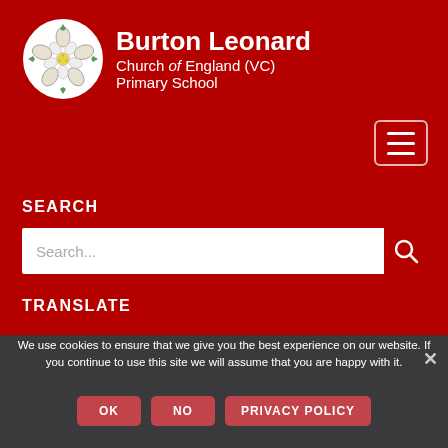[Figure (logo): Burton Leonard Church of England Primary School logo — white rose in a circle on red background]
Burton Leonard Church of England (VC) Primary School
SEARCH
Search...
TRANSLATE
We use cookies to ensure that we give you the best experience on our website. If you continue to use this site we will assume that you are happy with it.
OK
NO
PRIVACY POLICY